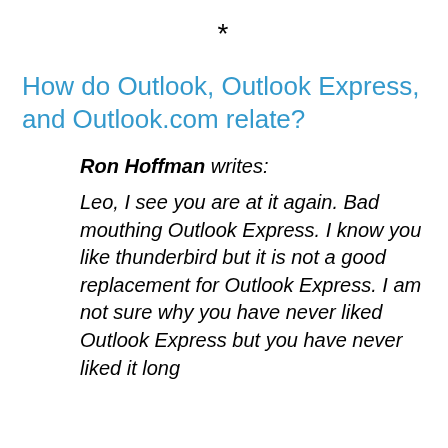*
How do Outlook, Outlook Express, and Outlook.com relate?
Ron Hoffman writes:
Leo, I see you are at it again. Bad mouthing Outlook Express. I know you like thunderbird but it is not a good replacement for Outlook Express. I am not sure why you have never liked Outlook Express but you have never liked it long